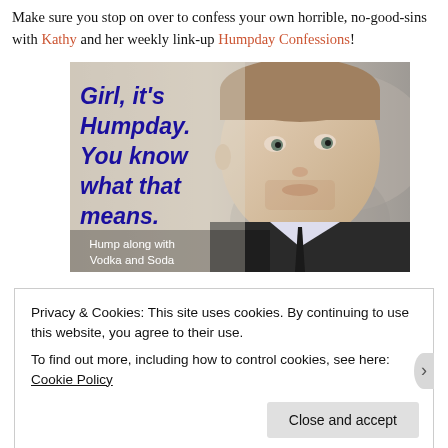Make sure you stop on over to confess your own horrible, no-good-sins with Kathy and her weekly link-up Humpday Confessions!
[Figure (photo): A meme image featuring a man (Ryan Gosling) in a suit with bold blue text on the left reading 'Girl, it's Humpday. You know what that means.' and white text at the bottom reading 'Hump along with Vodka and Soda']
Privacy & Cookies: This site uses cookies. By continuing to use this website, you agree to their use. To find out more, including how to control cookies, see here: Cookie Policy